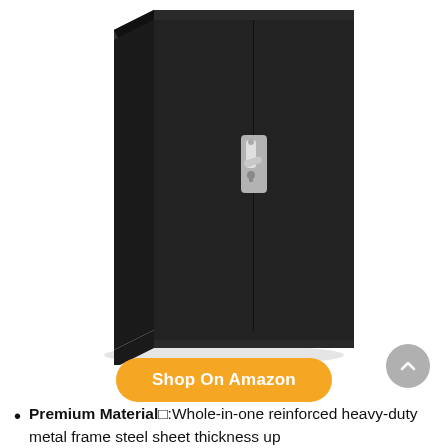[Figure (photo): A tall black metal storage cabinet with two doors and a silver lever lock/handle in the center, shown on a white background. The cabinet has a two-door design with a base.]
Shop On Amazon
Premium Material□:Whole-in-one reinforced heavy-duty metal frame steel sheet thickness up